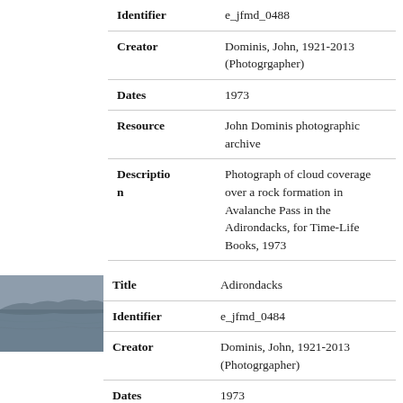| Field | Value |
| --- | --- |
| Identifier | e_jfmd_0488 |
| Creator | Dominis, John, 1921-2013 (Photogrgapher) |
| Dates | 1973 |
| Resource | John Dominis photographic archive |
| Description | Photograph of cloud coverage over a rock formation in Avalanche Pass in the Adirondacks, for Time-Life Books, 1973 |
[Figure (photo): Small thumbnail photograph showing a misty lake or water scene in the Adirondacks, blue-grey tones]
| Field | Value |
| --- | --- |
| Title | Adirondacks |
| Identifier | e_jfmd_0484 |
| Creator | Dominis, John, 1921-2013 (Photogrgapher) |
| Dates | 1973 |
| Resource | John Dominis photographic archive |